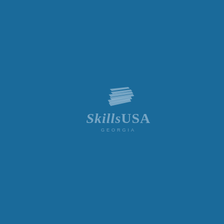[Figure (logo): SkillsUSA Georgia logo centered slightly below middle of a solid blue (#1a6a9a) page. The logo consists of a stylized flag/chevron graphic above the text 'SkillsUSA' in italic serif font with 'GEORGIA' in small spaced capitals beneath. All elements are rendered in a muted light blue-grey color against the dark blue background.]